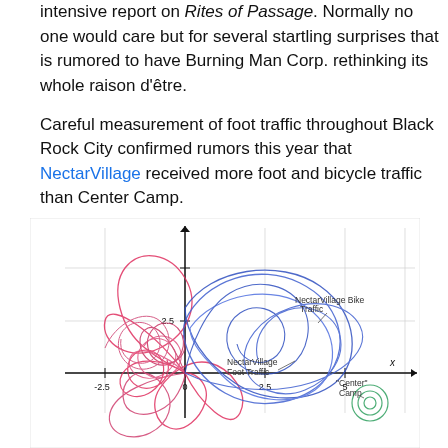intensive report on Rites of Passage. Normally no one would care but for several startling surprises that is rumored to have Burning Man Corp. rethinking its whole raison d'être.
Careful measurement of foot traffic throughout Black Rock City confirmed rumors this year that NectarVillage received more foot and bicycle traffic than Center Camp.
[Figure (continuous-plot): A parametric/continuous plot showing overlapping looping curves representing NectarVillage Foot Traffic (red/pink curves, large overlapping spirograph-style loops centered near origin), NectarVillage Bike Traffic (blue curves, large oval loops extending into positive x and y region), and 'Center' Camp (green concentric circles, small, located at approximately x=4, y=-1.5). Axes labeled x, with tick marks at -2.5, 0, 2.5, 5 on x-axis and 2.5 on y-axis. Grid lines visible.]